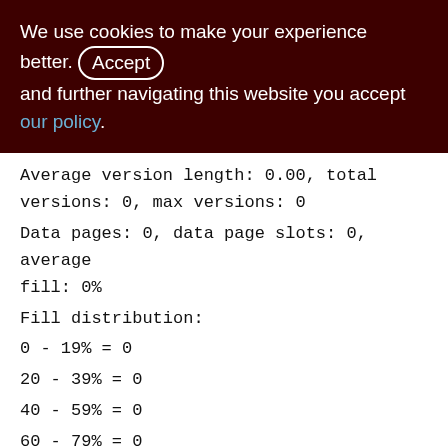We use cookies to make your experience better. By accepting and further navigating this website you accept our policy.
Average version length: 0.00, total versions: 0, max versions: 0
Data pages: 0, data page slots: 0, average fill: 0%
Fill distribution:
0 - 19% = 0
20 - 39% = 0
40 - 59% = 0
60 - 79% = 0
80 - 99% = 0

Index MON_LOG_DTS (4)